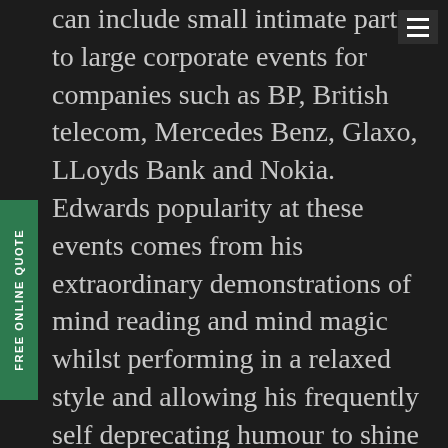can include small intimate parties to large corporate events for companies such as BP, British telecom, Mercedes Benz, Glaxo, LLoyds Bank and Nokia. Edwards popularity at these events comes from his extraordinary demonstrations of mind reading and mind magic whilst performing in a relaxed style and allowing his frequently self deprecating humour to shine through. Both his close up and cabaret act are perfect entertainment for any Christmas party. Edward's close up act can be performed standing at drink receptions and Christmas balls, or Edward will go around tables for Christmas dinners giving each group a private performance. His cabaret show is perfect for after dinner and pre dinner